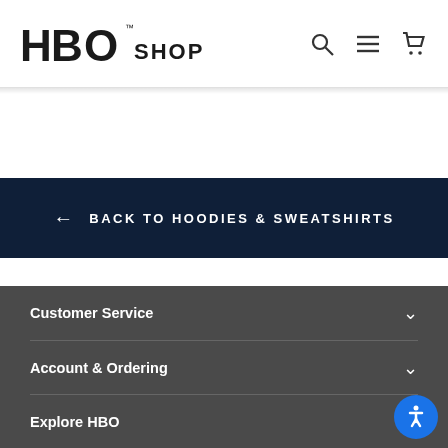HBO SHOP
← BACK TO HOODIES & SWEATSHIRTS
Customer Service
Account & Ordering
Explore HBO